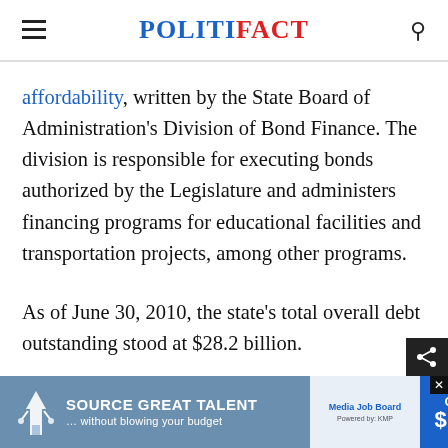POLITIFACT
affordability, written by the State Board of Administration's Division of Bond Finance. The division is responsible for executing bonds authorized by the Legislature and administers financing programs for educational facilities and transportation projects, among other programs.
As of June 30, 2010, the state's total overall debt outstanding stood at $28.2 billion.
Now,
[Figure (screenshot): Advertisement banner: 'SOURCE GREAT TALENT ... without blowing your budget' with Media Job Board logo and 'Only $199' offer in blue box]